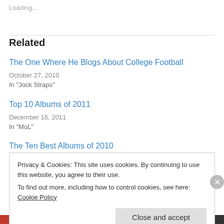Loading...
Related
The One Where He Blogs About College Football
October 27, 2010
In "Jock Straps"
Top 10 Albums of 2011
December 16, 2011
In "MoL"
The Ten Best Albums of 2010
Privacy & Cookies: This site uses cookies. By continuing to use this website, you agree to their use.
To find out more, including how to control cookies, see here: Cookie Policy
Close and accept